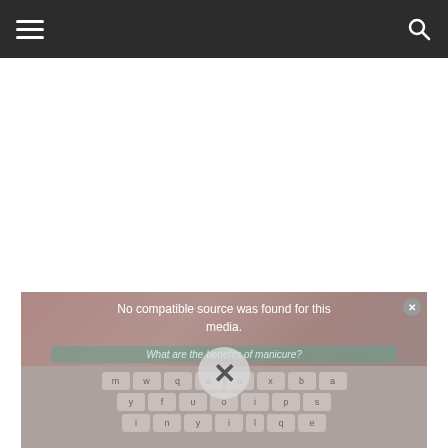Navigation menu and search icon
[Figure (screenshot): Video player showing 'No compatible source was found for this media.' message with a subtitle 'What are the benefits of manicure?' overlaid on a background showing hands and a keyboard. A close button (x) is in the top right and a large X/close button is in the center of the player.]